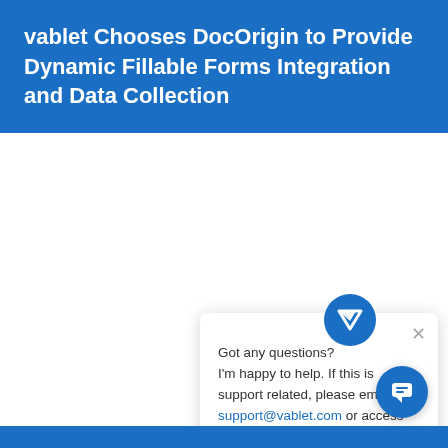vablet Chooses DocOrigin to Provide Dynamic Fillable Forms Integration and Data Collection
[Figure (screenshot): Chat popup widget with vablet logo, close button, and a message: Got any questions? I'm happy to help. If this is support related, please email support@vablet.com or access the chat once you are logged in. This way we know who to respond too.]